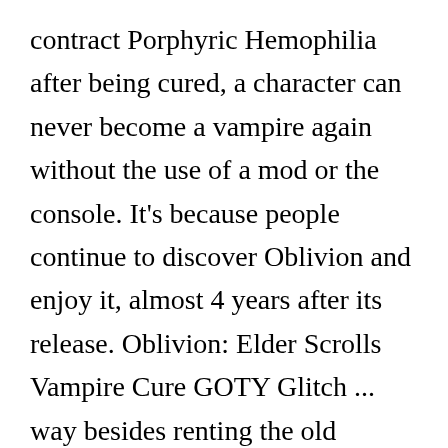contract Porphyric Hemophilia after being cured, a character can never become a vampire again without the use of a mod or the console. It's because people continue to discover Oblivion and enjoy it, almost 4 years after its release. Oblivion: Elder Scrolls Vampire Cure GOTY Glitch ... way besides renting the old edition of the game. Vampire Revolution is a massive overhaul mod that completely reworks Oblivion's vampires into something way more dangerous. If you have been sick for more than 3 game days you will be a vampire. What can I do. The Chest is called "Chest of the Cure" The Chest is Halfway into the wall near the floor where the blocks have fallen out to give it a "Secretive"